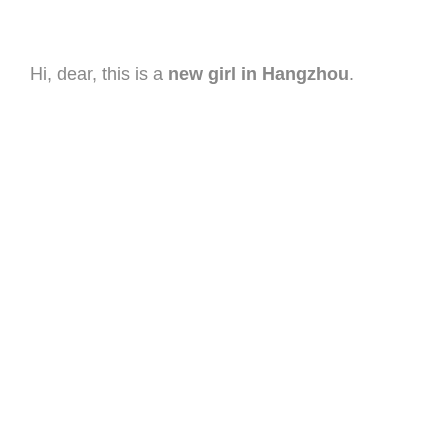Hi, dear, this is a new girl in Hangzhou.